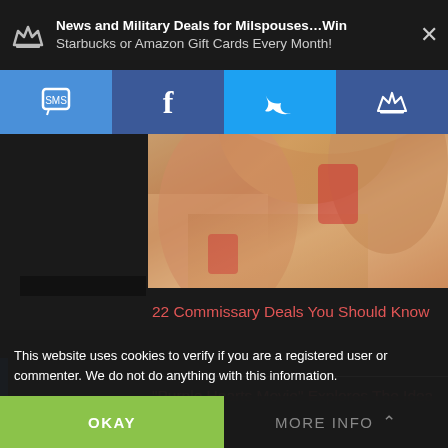News and Military Deals for Milspouses…Win Starbucks or Amazon Gift Cards Every Month!
[Figure (screenshot): Social sharing bar with SMS, Facebook, Twitter, and crown/military spouse network icons on blue background]
[Figure (photo): Partial photo of a woman with long hair wearing a floral dress]
22 Commissary Deals You Should Know
“Purple Hearts Movie” Explores The Idea of
This website uses cookies to verify if you are a registered user or commenter. We do not do anything with this information.
OKAY
MORE INFO